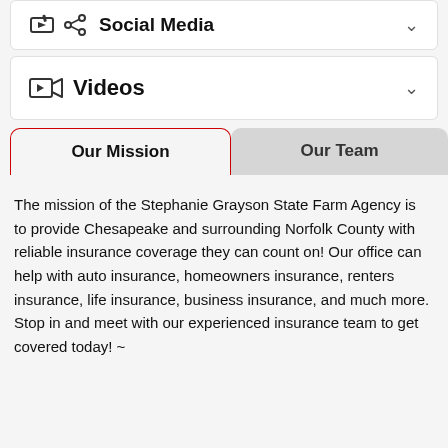Social Media
Videos
Our Mission
Our Team
The mission of the Stephanie Grayson State Farm Agency is to provide Chesapeake and surrounding Norfolk County with reliable insurance coverage they can count on! Our office can help with auto insurance, homeowners insurance, renters insurance, life insurance, business insurance, and much more. Stop in and meet with our experienced insurance team to get covered today! ~